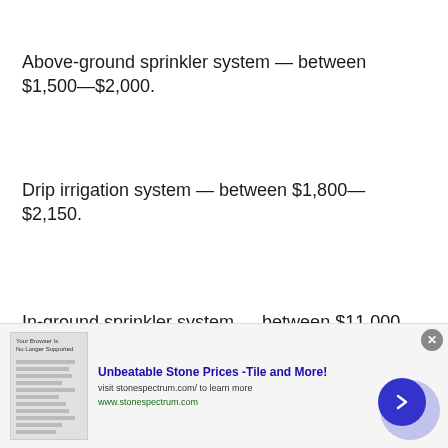Above-ground sprinkler system — between $1,500—$2,000.
Drip irrigation system — between $1,800—$2,150.
In-ground sprinkler system — between $11,000—$13,000.
Your yard and lawn size will also play a significant